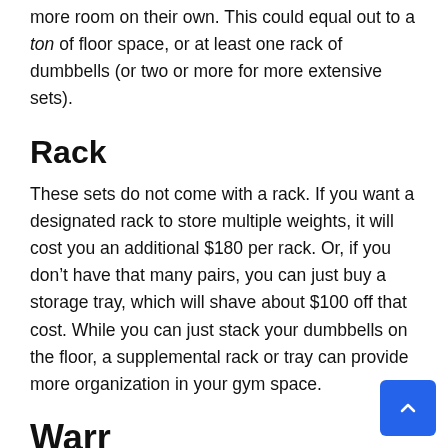more room on their own. This could equal out to a ton of floor space, or at least one rack of dumbbells (or two or more for more extensive sets).
Rack
These sets do not come with a rack. If you want a designated rack to store multiple weights, it will cost you an additional $180 per rack. Or, if you don’t have that many pairs, you can just buy a storage tray, which will shave about $100 off that cost. While you can just stack your dumbbells on the floor, a supplemental rack or tray can provide more organization in your gym space.
Warranty